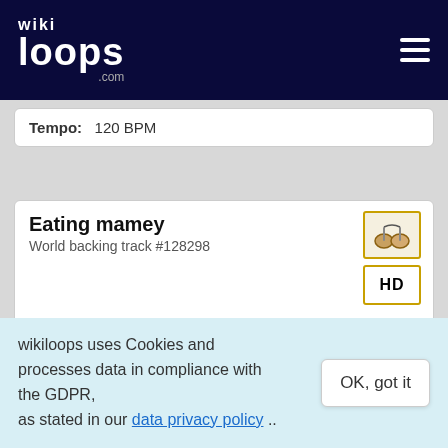wikiloops.com
Tempo: 120 BPM
Eating mamey
World backing track #128298
Tempo: 114 BPM
Listen to the beat of the drum.
World backing track #138675
wikiloops uses Cookies and processes data in compliance with the GDPR, as stated in our data privacy policy ..